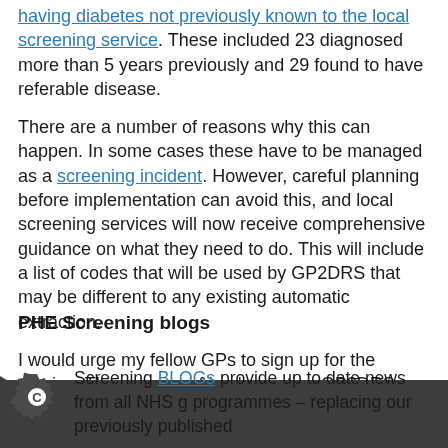having diabetes not previously known to the local screening service. These included 23 diagnosed more than 5 years previously and 29 found to have referable disease.
There are a number of reasons why this can happen. In some cases these have to be managed as a screening incident. However, careful planning before implementation can avoid this, and local screening services will now receive comprehensive guidance on what they need to do. This will include a list of codes that will be used by GP2DRS that may be different to any existing automatic extraction.
I would urge my fellow GPs to sign up for the service. The process of implementing GP2DRS may require some groundwork by the practice ahead of and during implementation. Once implemented, GP2DRS should ensure effective retinal screening communication for patients at your practice and also save practice administrative time.
PHE Screening blogs
Screening BLOGs provide up to date news from all NHS g programmes – replacing our previously published